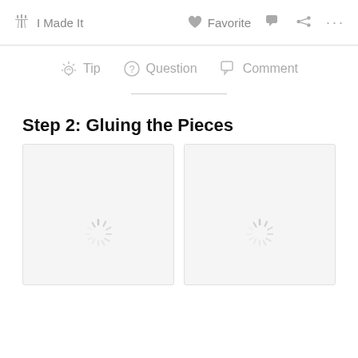I Made It   Favorite   Comment   Share   ...
Tip   Question   Comment
Step 2: Gluing the Pieces
[Figure (photo): Loading placeholder image (left), spinner visible]
[Figure (photo): Loading placeholder image (right), spinner visible]